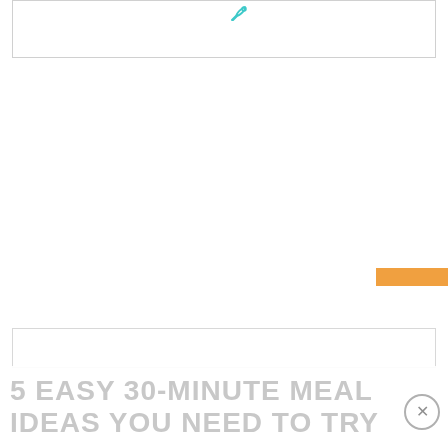[Figure (screenshot): Top white box with rounded border and a small teal pen/link icon near the top center]
[Figure (other): Orange rectangular bar element at right side]
[Figure (screenshot): Bottom partial white box with border visible near bottom of page]
5 EASY 30-MINUTE MEAL IDEAS YOU NEED TO TRY